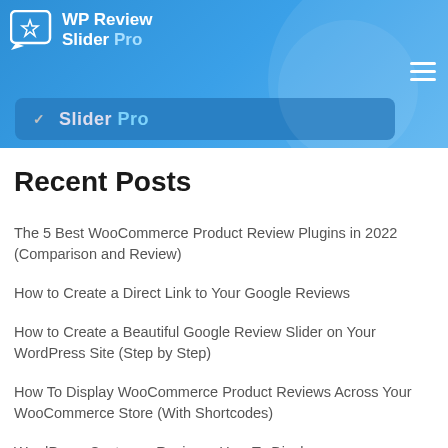WP Review Slider Pro
Recent Posts
The 5 Best WooCommerce Product Review Plugins in 2022 (Comparison and Review)
How to Create a Direct Link to Your Google Reviews
How to Create a Beautiful Google Review Slider on Your WordPress Site (Step by Step)
How To Display WooCommerce Product Reviews Across Your WooCommerce Store (With Shortcodes)
WordPress Customer Reviews: How To Display